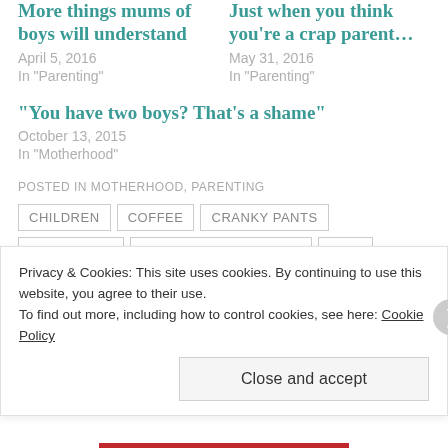More things mums of boys will understand
April 5, 2016
In "Parenting"
Just when you think you're a crap parent…
May 31, 2016
In "Parenting"
"You have two boys? That's a shame"
October 13, 2015
In "Motherhood"
POSTED IN MOTHERHOOD, PARENTING
CHILDREN
COFFEE
CRANKY PANTS
EXHAUSTED
HOSTAGE NEGOTIATOR
KIDS
LIFE KIDS AND A GLASS OF RED
Privacy & Cookies: This site uses cookies. By continuing to use this website, you agree to their use.
To find out more, including how to control cookies, see here: Cookie Policy
Close and accept